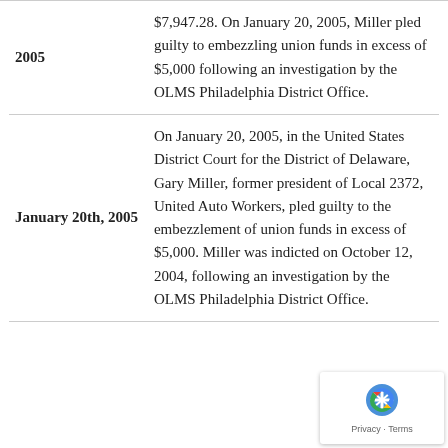| Date | Description |
| --- | --- |
| 2005 | $7,947.28. On January 20, 2005, Miller pled guilty to embezzling union funds in excess of $5,000 following an investigation by the OLMS Philadelphia District Office. |
| January 20th, 2005 | On January 20, 2005, in the United States District Court for the District of Delaware, Gary Miller, former president of Local 2372, United Auto Workers, pled guilty to the embezzlement of union funds in excess of $5,000. Miller was indicted on October 12, 2004, following an investigation by the OLMS Philadelphia District Office. |